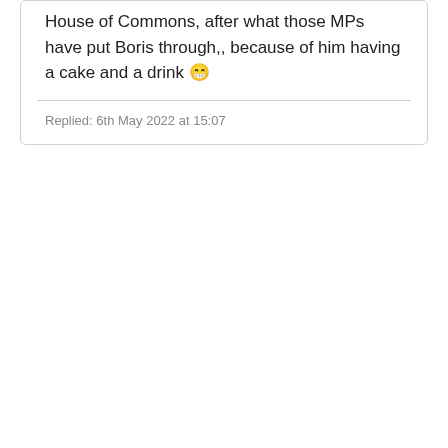House of Commons, after what those MPs have put Boris through,, because of him having a cake and a drink 😁
Replied: 6th May 2022 at 15:07